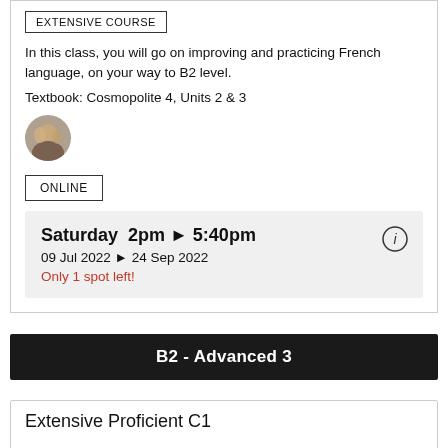EXTENSIVE COURSE
In this class, you will go on improving and practicing French language, on your way to B2 level.
Textbook: Cosmopolite 4, Units 2 & 3
[Figure (photo): Small circular avatar photo of a person or group]
ONLINE
Saturday  2pm ► 5:40pm
09 Jul 2022 ► 24 Sep 2022
Only 1 spot left!
B2 - Advanced 3
Extensive Proficient C1...